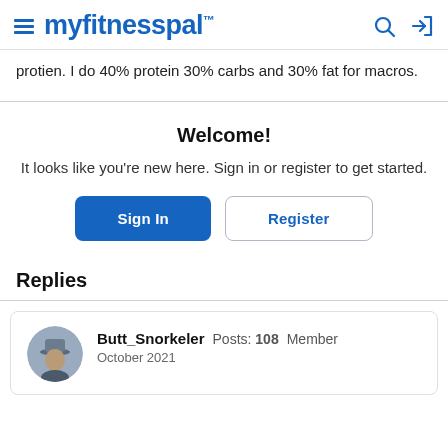myfitnesspal
protien. I do 40% protein 30% carbs and 30% fat for macros.
Welcome!
It looks like you're new here. Sign in or register to get started.
Sign In | Register
Replies
Butt_Snorkeler  Posts: 108  Member
October 2021